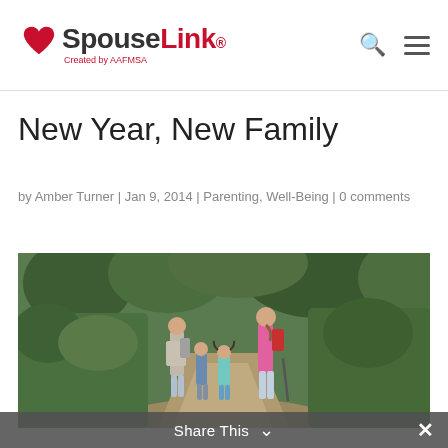SpouseLink — Created by AAFMSA (logo), search icon, menu icon
New Year, New Family
by Amber Turner | Jan 9, 2014 | Parenting, Well-Being | 0 comments
[Figure (photo): A family of four (two adults, two children) hiking on a wooded trail, with backpacks, walking away from camera]
Share This